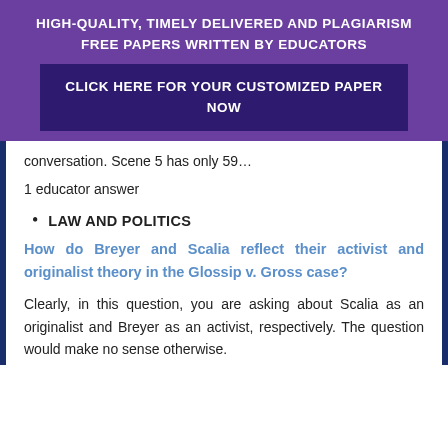HIGH-QUALITY, TIMELY DELIVERED AND PLAGIARISM FREE PAPERS WRITTEN BY EDUCATORS
CLICK HERE FOR YOUR CUSTOMIZED PAPER NOW
conversation. Scene 5 has only 59…
1 educator answer
LAW AND POLITICS
How do Breyer and Scalia reflect their activist and originalist theory in the Glossip v. Gross case?
Clearly, in this question, you are asking about Scalia as an originalist and Breyer as an activist, respectively. The question would make no sense otherwise.